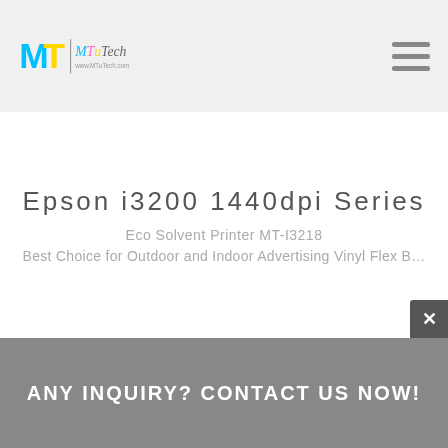MTuTech logo and navigation header
Epson i3200 1440dpi Series
Eco Solvent Printer MT-I3218
Best Choice for Outdoor and Indoor Advertising Vinyl Flex B…
ANY INQUIRY? CONTACT US NOW!